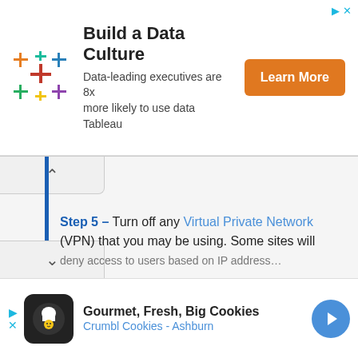[Figure (infographic): Top advertisement banner: Tableau logo (colorful plus signs), text 'Build a Data Culture - Data-leading executives are 8x more likely to use data Tableau', and an orange 'Learn More' button.]
Step 5 – Turn off any Virtual Private Network (VPN) that you may be using. Some sites will
[Figure (infographic): Bottom advertisement banner: Crumbl Cookies ad with black circular logo showing a chef icon, text 'Gourmet, Fresh, Big Cookies Crumbl Cookies - Ashburn', and a blue navigation arrow button.]